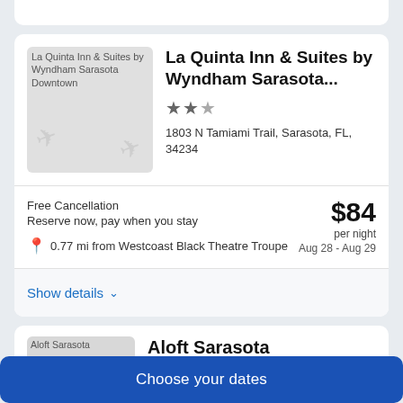[Figure (screenshot): Hotel listing card for La Quinta Inn & Suites by Wyndham Sarasota Downtown showing image placeholder with airplane icons]
La Quinta Inn & Suites by Wyndham Sarasota...
★★☆ (2.5 stars)
1803 N Tamiami Trail, Sarasota, FL, 34234
Free Cancellation
Reserve now, pay when you stay
$84 per night
Aug 28 - Aug 29
0.77 mi from Westcoast Black Theatre Troupe
Show details
Aloft Sarasota
Choose your dates